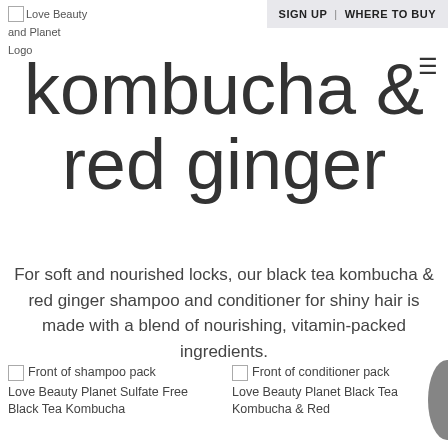[Figure (logo): Love Beauty and Planet Logo placeholder image]
SIGN UP | WHERE TO BUY
kombucha & red ginger
For soft and nourished locks, our black tea kombucha & red ginger shampoo and conditioner for shiny hair is made with a blend of nourishing, vitamin-packed ingredients.
[Figure (photo): Front of shampoo pack — Love Beauty Planet Sulfate Free Black Tea Kombucha]
[Figure (photo): Front of conditioner pack — Love Beauty Planet Black Tea Kombucha & Red]